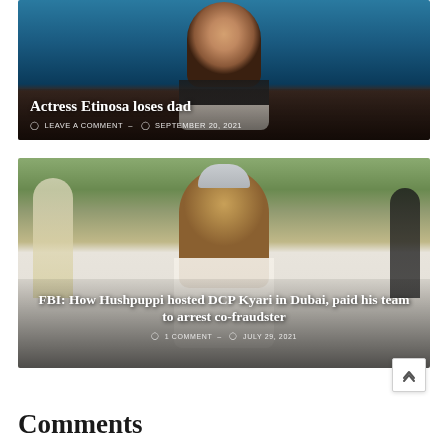[Figure (photo): Photo of actress Etinosa with overlaid title and metadata on a teal background]
Actress Etinosa loses dad
LEAVE A COMMENT – SEPTEMBER 20, 2021
[Figure (photo): Photo of DCP Kyari outdoors with overlaid title and metadata]
FBI: How Hushpuppi hosted DCP Kyari in Dubai, paid his team to arrest co-fraudster
1 COMMENT – JULY 29, 2021
Comments